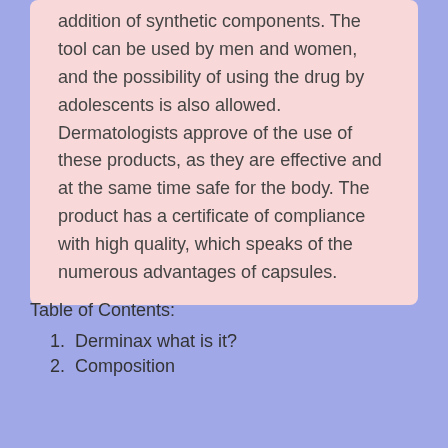addition of synthetic components. The tool can be used by men and women, and the possibility of using the drug by adolescents is also allowed. Dermatologists approve of the use of these products, as they are effective and at the same time safe for the body. The product has a certificate of compliance with high quality, which speaks of the numerous advantages of capsules.
Table of Contents:
1. Derminax what is it?
2. Composition